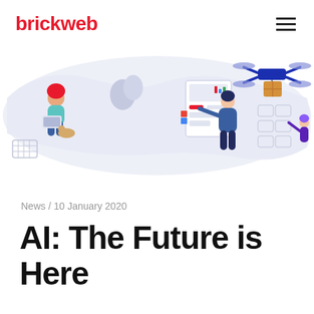brickweb
[Figure (illustration): Hero illustration showing three scenes: a woman with red hair sitting floating with a laptop, a man in blue interacting with a digital UI panel, and a blue drone delivering a package. Background is a light lavender-grey organic blob shape.]
News / 10 January 2020
AI: The Future is Here